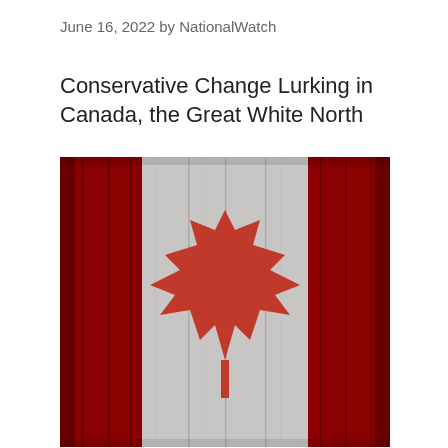June 16, 2022 by NationalWatch
Conservative Change Lurking in Canada, the Great White North
[Figure (illustration): Canadian flag rendered on a wooden plank background. The flag features the iconic red-and-white design with a red maple leaf in the center on a white field, flanked by red panels. The wooden texture gives a vintage or rustic appearance with vertical wood grain visible through the flag colors.]